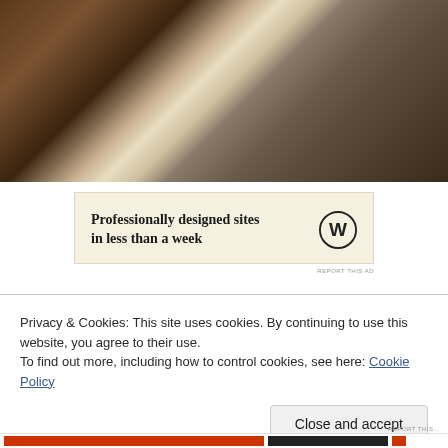[Figure (photo): Close-up photo of old books or wooden surfaces with torn paper edges, dark brown tones]
[Figure (other): WordPress advertisement banner with text 'Professionally designed sites in less than a week' and WordPress logo on cream/beige background]
Privacy & Cookies: This site uses cookies. By continuing to use this website, you agree to their use.
To find out more, including how to control cookies, see here: Cookie Policy
Close and accept